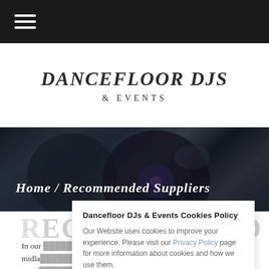☰ (navigation menu)
DANCEFLOOR DJS & EVENTS
[Figure (photo): Dark blurred background showing vinyl records being handled, with breadcrumb navigation text overlay reading Home / Recommended Suppliers]
RECOMMENDED SUPPLIERS
In our ... ss the midla... vents suppl... Here are the companies and individuals that we
Dancefloor DJs & Events Cookies Policy
Our Website uses cookies to improve your experience. Please visit our Privacy Policy page for more information about cookies and how we use them.